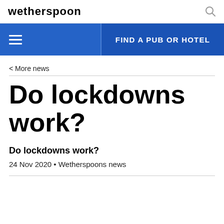wetherspoon
FIND A PUB OR HOTEL
< More news
Do lockdowns work?
Do lockdowns work?
24 Nov 2020 • Wetherspoons news